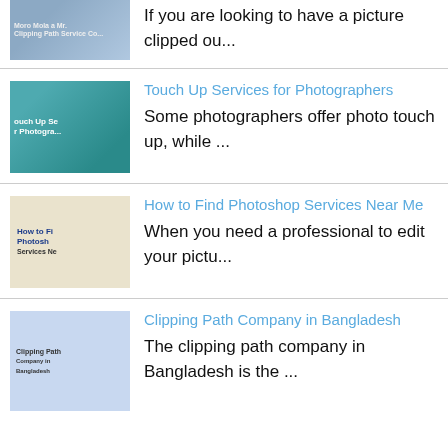[Figure (photo): Thumbnail image related to clipping path company]
If you are looking to have a picture clipped ou...
[Figure (photo): Thumbnail image of Touch Up Services for Photographers]
Touch Up Services for Photographers
Some photographers offer photo touch up, while ...
[Figure (photo): Thumbnail image of How to Find Photoshop Services Near Me]
How to Find Photoshop Services Near Me
When you need a professional to edit your pictu...
[Figure (photo): Thumbnail image of Clipping Path Company in Bangladesh]
Clipping Path Company in Bangladesh
The clipping path company in Bangladesh is the ...